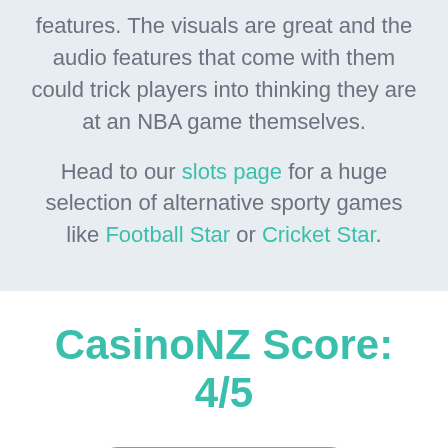features. The visuals are great and the audio features that come with them could trick players into thinking they are at an NBA game themselves.
Head to our slots page for a huge selection of alternative sporty games like Football Star or Cricket Star.
CasinoNZ Score: 4/5
PLAY NOW